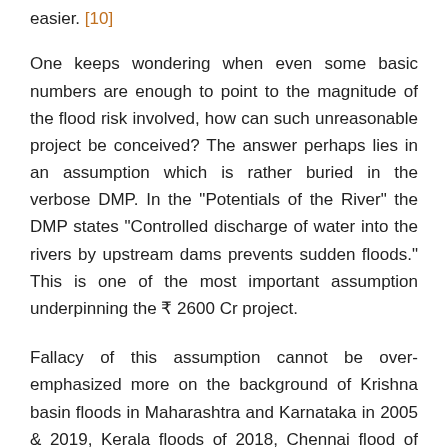easier. [10]
One keeps wondering when even some basic numbers are enough to point to the magnitude of the flood risk involved, how can such unreasonable project be conceived? The answer perhaps lies in an assumption which is rather buried in the verbose DMP. In the “Potentials of the River” the DMP states “Controlled discharge of water into the rivers by upstream dams prevents sudden floods.” This is one of the most important assumption underpinning the ₹ 2600 Cr project.
Fallacy of this assumption cannot be over-emphasized more on the background of Krishna basin floods in Maharashtra and Karnataka in 2005 & 2019, Kerala floods of 2018, Chennai flood of 2015, Surat floods of 2006 and so on. Torrential rains coupled with poorly